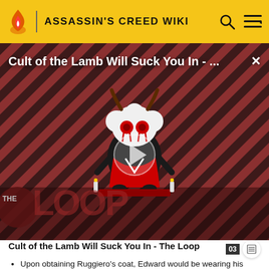ASSASSIN'S CREED WIKI
[Figure (screenshot): Video thumbnail for 'Cult of the Lamb Will Suck You In - The Loop' featuring a cartoon lamb character in a dark red striped background with a large play button overlay and 'THE LOOP' text badge in the lower left corner. A close (×) button appears in the top right corner.]
Cult of the Lamb Will Suck You In - The Loop
Upon obtaining Ruggiero's coat, Edward would be wearing his plain robes underneath, regardless of the equipped outfit.
In the novelization, Edward admits to knowing only a